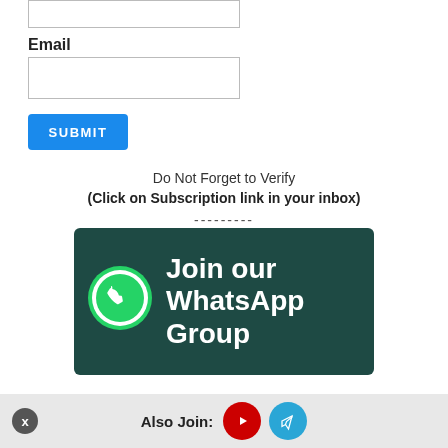Email
[Figure (screenshot): Submit button (blue) for a subscription form]
Do Not Forget to Verify
(Click on Subscription link in your inbox)
---------
[Figure (infographic): Join our WhatsApp Group banner with WhatsApp logo on dark teal background]
Also Join: